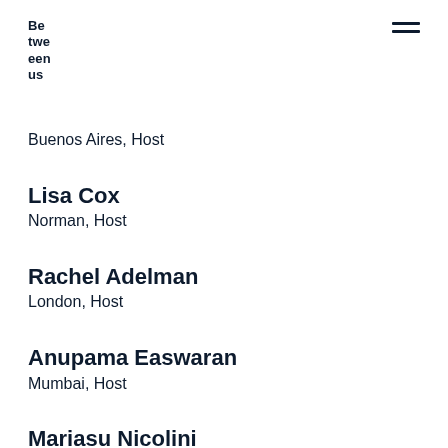Be tween us
Buenos Aires, Host
Lisa Cox
Norman, Host
Rachel Adelman
London, Host
Anupama Easwaran
Mumbai, Host
Mariasu Nicolini
Buenos Aires, Host